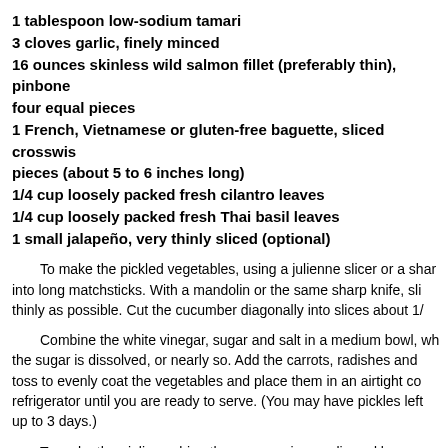1 tablespoon low-sodium tamari
3 cloves garlic, finely minced
16 ounces skinless wild salmon fillet (preferably thin), pinbone and cut into four equal pieces
1 French, Vietnamese or gluten-free baguette, sliced crosswise into four pieces (about 5 to 6 inches long)
1/4 cup loosely packed fresh cilantro leaves
1/4 cup loosely packed fresh Thai basil leaves
1 small jalapeño, very thinly sliced (optional)
To make the pickled vegetables, using a julienne slicer or a sharp knife, cut the carrots into long matchsticks. With a mandolin or the same sharp knife, slice the radishes as thinly as possible. Cut the cucumber diagonally into slices about 1/4
Combine the white vinegar, sugar and salt in a medium bowl, whisking until the sugar is dissolved, or nearly so. Add the carrots, radishes and cucumber and toss to evenly coat the vegetables and place them in an airtight container in the refrigerator until you are ready to serve. (You may have pickles left over; they keep up to 3 days.)
To make the aioli, combine the mayonnaise, garlic and lemon ze